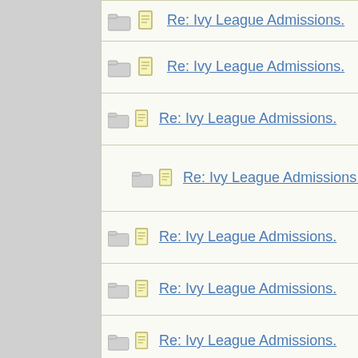| Thread | Author |
| --- | --- |
| Re: Ivy League Admissions. | thx1138 |
| Re: Ivy League Admissions. | Bostonia |
| Re: Ivy League Admissions. | HowlerK |
| Re: Ivy League Admissions. | Val |
| Re: Ivy League Admissions. | Bostonia |
| Re: Ivy League Admissions. | Quantum |
| Re: Ivy League Admissions. | HowlerK |
| Re: Ivy League Admissions. | GailP |
| Re: Ivy League Admissions. | stemfun |
| Re: Ivy League Admissions. | Bostonia |
| Re: Ivy League Admissions. | GailP |